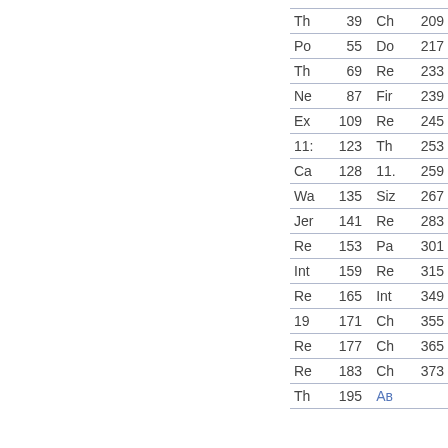| Th | 39 | Ch | 209 |
| Po | 55 | Do | 217 |
| Th | 69 | Re | 233 |
| Ne | 87 | Fir | 239 |
| Ex | 109 | Re | 245 |
| 11: | 123 | Th | 253 |
| Ca | 128 | 11. | 259 |
| Wa | 135 | Siz | 267 |
| Jer | 141 | Re | 283 |
| Re | 153 | Pa | 301 |
| Int | 159 | Re | 315 |
| Re | 165 | Int | 349 |
| 19 | 171 | Ch | 355 |
| Re | 177 | Ch | 365 |
| Re | 183 | Ch | 373 |
| Th | 195 | Ав |  |